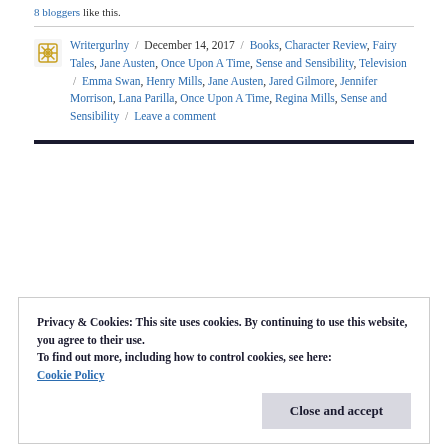8 bloggers like this.
Writergurlny / December 14, 2017 / Books, Character Review, Fairy Tales, Jane Austen, Once Upon A Time, Sense and Sensibility, Television / Emma Swan, Henry Mills, Jane Austen, Jared Gilmore, Jennifer Morrison, Lana Parilla, Once Upon A Time, Regina Mills, Sense and Sensibility / Leave a comment
Privacy & Cookies: This site uses cookies. By continuing to use this website, you agree to their use.
To find out more, including how to control cookies, see here: Cookie Policy
Close and accept